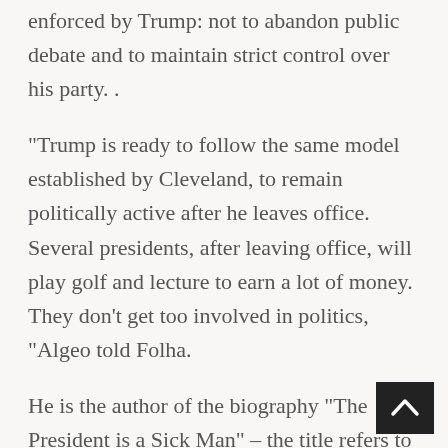enforced by Trump: not to abandon public debate and to maintain strict control over his party. .
“Trump is ready to follow the same model established by Cleveland, to remain politically active after he leaves office. Several presidents, after leaving office, will play golf and lecture to earn a lot of money. They don’t get too involved in politics, “Algeo told Folha.
He is the author of the biography “The President is a Sick Man” – the title refers to a famous episode of the Cleveland presidency, in which he set up a covert operation to cover up cancer.
In his first weeks after his loss to Biden, Trump showed signs that he will not allow the emergence of competitors in the Republican Party and the American right. His reinstatement in politics came at the close of